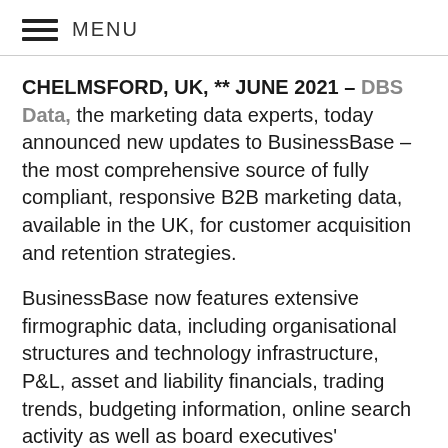MENU
CHELMSFORD, UK, ** JUNE 2021 – DBS Data, the marketing data experts, today announced new updates to BusinessBase – the most comprehensive source of fully compliant, responsive B2B marketing data, available in the UK, for customer acquisition and retention strategies.
BusinessBase now features extensive firmographic data, including organisational structures and technology infrastructure, P&L, asset and liability financials, trading trends, budgeting information, online search activity as well as board executives' connections with other organisations. These insights are augmented by 4.2 million